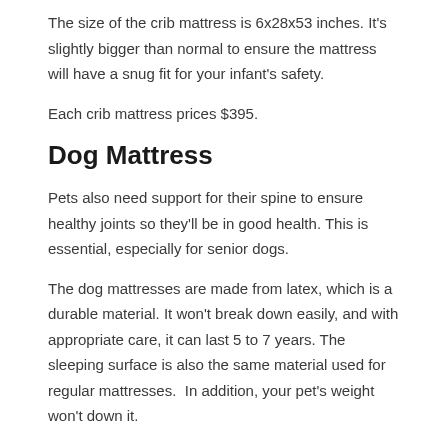The size of the crib mattress is 6x28x53 inches. It's slightly bigger than normal to ensure the mattress will have a snug fit for your infant's safety.
Each crib mattress prices $395.
Dog Mattress
Pets also need support for their spine to ensure healthy joints so they'll be in good health. This is essential, especially for senior dogs.
The dog mattresses are made from latex, which is a durable material. It won't break down easily, and with appropriate care, it can last 5 to 7 years. The sleeping surface is also the same material used for regular mattresses.  In addition, your pet's weight won't down it.
The SleepEZ dog mattress includes a zipper cover to make